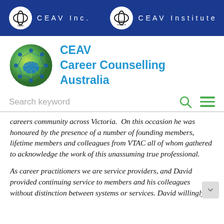CEAV Inc.   CEAV Institute
[Figure (logo): CEAV Career Counselling Australia logo — green circular emblem with people figures and a map of Australia, beside blue text 'CEAV Career Counselling Australia']
Search keyword
careers community across Victoria.  On this occasion he was honoured by the presence of a number of founding members, lifetime members and colleagues from VTAC all of whom gathered to acknowledge the work of this unassuming true professional.
As career practitioners we are service providers, and David provided continuing service to members and his colleagues without distinction between systems or services. David willingly